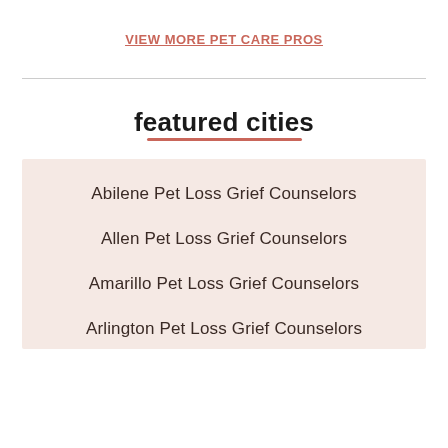VIEW MORE PET CARE PROS
featured cities
Abilene Pet Loss Grief Counselors
Allen Pet Loss Grief Counselors
Amarillo Pet Loss Grief Counselors
Arlington Pet Loss Grief Counselors